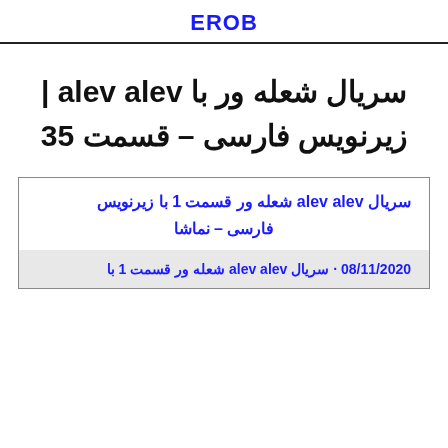EROB
سریال شعله ور با alev alev | زیرنویس فارسی – قسمت 35
سریال alev alev شعله ور قسمت 1 با زیرنویس فارسی - نماشا
08/11/2020 · سریال alev alev شعله ور قسمت 1 با